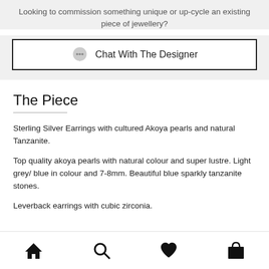Looking to commission something unique or up-cycle an existing piece of jewellery?
Chat With The Designer
The Piece
Sterling Silver Earrings with cultured Akoya pearls and natural Tanzanite.
Top quality akoya pearls with natural colour and super lustre. Light grey/ blue in colour and 7-8mm. Beautiful blue sparkly tanzanite stones.
Leverback earrings with cubic zirconia.
[Figure (other): Bottom navigation bar with home, search, heart/wishlist, and bag icons]